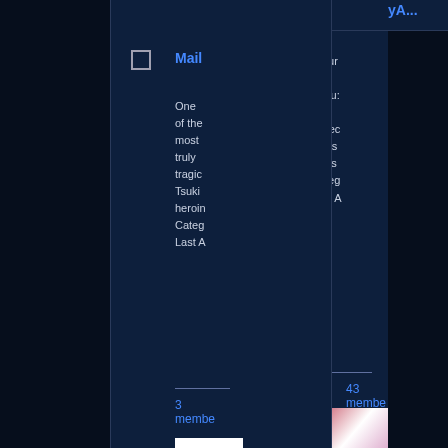you can post pictures and discuss any aspects of his awesome
Categ Last A
43 members
Mail
One of the most truly tragic Tsukihime heroin Categ Last A
3 members
[Figure (photo): Anime character image - white/silver haired character]
[Figure (photo): White blank member avatar image 1]
[Figure (photo): White blank member avatar image 2]
[Figure (photo): Gray silhouette member avatar image]
This group doesn't have any